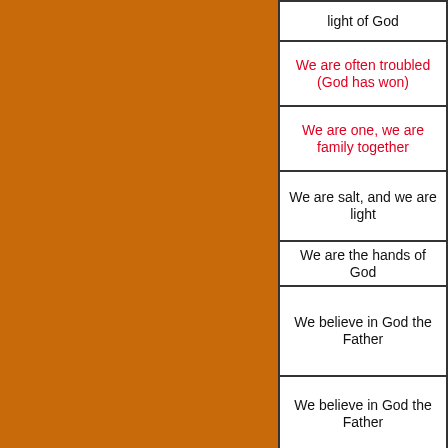| light of God |
| We are often troubled
(God has won) |
| We are one, we are family together |
| We are salt, and we are light |
| We are the hands of God |
| We believe in God the Father |
| We believe in God the Father |
| We believe in Hebrews thirteen, eight |
| We bow before the Holy One |
| We bow down and confess |